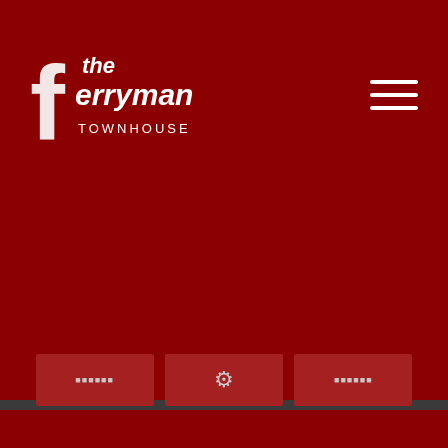[Figure (logo): The Ferryman Townhouse logo in white on dark red background]
Ireland
D02 E448
:+353 (0)1 671 7053
:reservation@theferrymantownhouse.ie